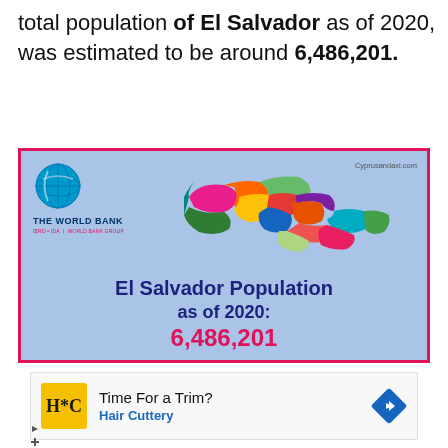total population of El Salvador as of 2020, was estimated to be around 6,486,201.
[Figure (infographic): World Bank infographic showing El Salvador Population as of 2020: 6,486,201, with a colorful map of El Salvador's regions and The World Bank logo. Source: Cyprusandaxi.com]
Time For a Trim? Hair Cuttery